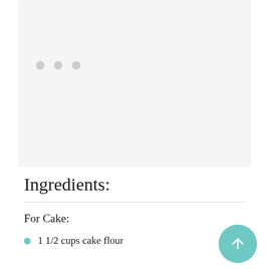[Figure (photo): Light gray placeholder image area with three gray dots indicating loading or image carousel]
Ingredients:
For Cake:
1 1/2 cups cake flour